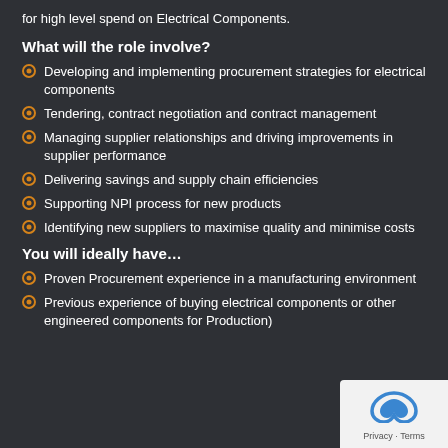for high level spend on Electrical Components.
What will the role involve?
Developing and implementing procurement strategies for electrical components
Tendering, contract negotiation and contract management
Managing supplier relationships and driving improvements in supplier performance
Delivering savings and supply chain efficiencies
Supporting NPI process for new products
Identifying new suppliers to maximise quality and minimise costs
You will ideally have…
Proven Procurement experience in a manufacturing environment
Previous experience of buying electrical components or other engineered components for Production)